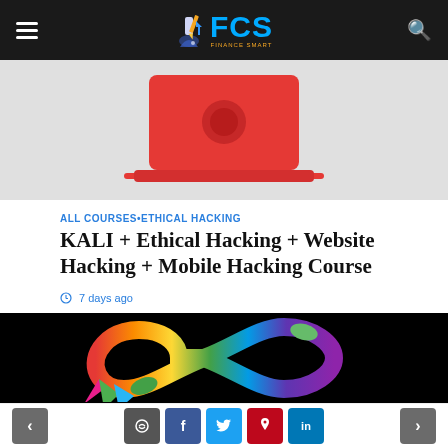FCS — Finance Computer Smart (navigation bar with hamburger menu, logo, search icon)
[Figure (illustration): Top banner image showing a red laptop with circular icon on grey background]
ALL COURSES•ETHICAL HACKING
KALI + Ethical Hacking + Website Hacking + Mobile Hacking Course
7 days ago
[Figure (illustration): Black background image with a colorful rainbow infinity symbol/snake and paper airplane shapes at the bottom]
Navigation and social share buttons: back, comment, facebook, twitter, pinterest, linkedin, next